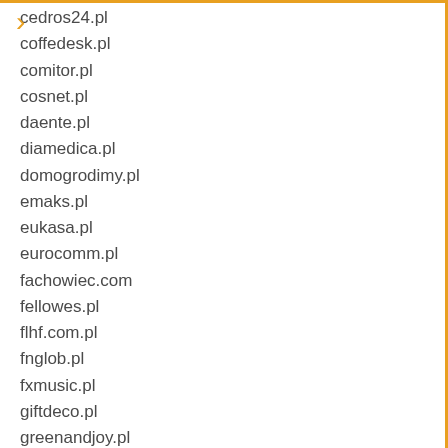cedros24.pl
coffedesk.pl
comitor.pl
cosnet.pl
daente.pl
diamedica.pl
domogrodimy.pl
emaks.pl
eukasa.pl
eurocomm.pl
fachowiec.com
fellowes.pl
flhf.com.pl
fnglob.pl
fxmusic.pl
giftdeco.pl
greenandjoy.pl
hdwg.pl